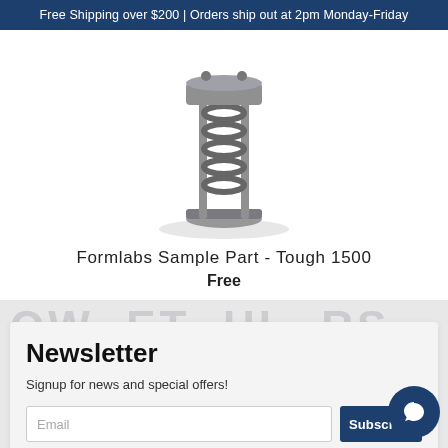Free Shipping over $200 | Orders ship out at 2pm Monday-Friday
[Figure (photo): Photo of a 3D-printed mechanical spring compression part (Formlabs Tough 1500 sample part) on a white background with shadow]
Formlabs Sample Part - Tough 1500
Free
Newsletter
Signup for news and special offers!
Email
Subscribe